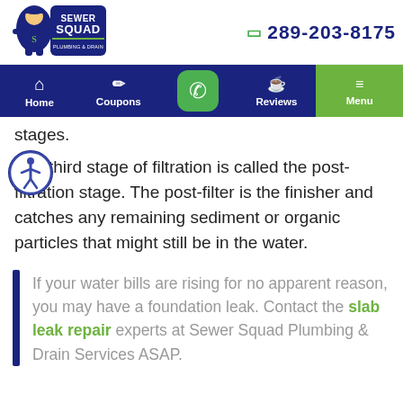Sewer Squad Plumbing & Drain — 289-203-8175
[Figure (logo): Sewer Squad Plumbing & Drain logo with cartoon plumber mascot]
stages.
The third stage of filtration is called the post-filtration stage. The post-filter is the finisher and catches any remaining sediment or organic particles that might still be in the water.
If your water bills are rising for no apparent reason, you may have a foundation leak. Contact the slab leak repair experts at Sewer Squad Plumbing & Drain Services ASAP.